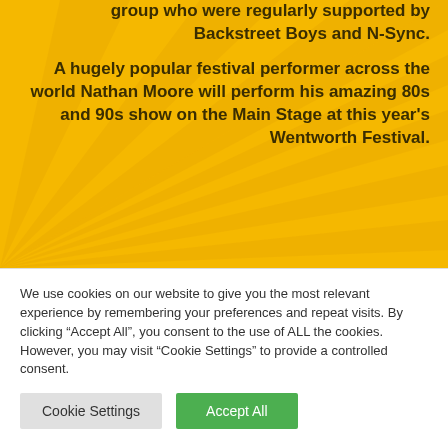group who were regularly supported by Backstreet Boys and N-Sync.
A hugely popular festival performer across the world Nathan Moore will perform his amazing 80s and 90s show on the Main Stage at this year's Wentworth Festival.
We use cookies on our website to give you the most relevant experience by remembering your preferences and repeat visits. By clicking "Accept All", you consent to the use of ALL the cookies. However, you may visit "Cookie Settings" to provide a controlled consent.